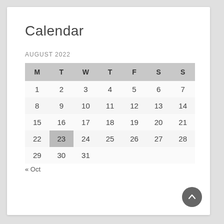Calendar
AUGUST 2022
| M | T | W | T | F | S | S |
| --- | --- | --- | --- | --- | --- | --- |
| 1 | 2 | 3 | 4 | 5 | 6 | 7 |
| 8 | 9 | 10 | 11 | 12 | 13 | 14 |
| 15 | 16 | 17 | 18 | 19 | 20 | 21 |
| 22 | 23 | 24 | 25 | 26 | 27 | 28 |
| 29 | 30 | 31 |  |  |  |  |
« Oct